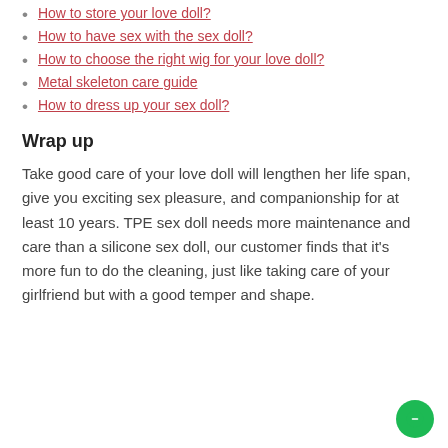How to store your love doll?
How to have sex with the sex doll?
How to choose the right wig for your love doll?
Metal skeleton care guide
How to dress up your sex doll?
Wrap up
Take good care of your love doll will lengthen her life span, give you exciting sex pleasure, and companionship for at least 10 years. TPE sex doll needs more maintenance and care than a silicone sex doll, our customer finds that it’s more fun to do the cleaning, just like taking care of your girlfriend but with a good temper and shape.